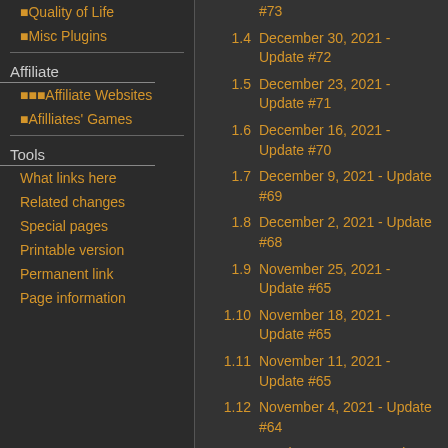🔲Quality of Life
🔲Misc Plugins
Affiliate
🔲🔲🔲Affiliate Websites
🔲Afilliates' Games
Tools
What links here
Related changes
Special pages
Printable version
Permanent link
Page information
1.4 December 30, 2021 - Update #72
1.5 December 23, 2021 - Update #71
1.6 December 16, 2021 - Update #70
1.7 December 9, 2021 - Update #69
1.8 December 2, 2021 - Update #68
1.9 November 25, 2021 - Update #65
1.10 November 18, 2021 - Update #65
1.11 November 11, 2021 - Update #65
1.12 November 4, 2021 - Update #64
1.13 October 28, 2021 - Update #63